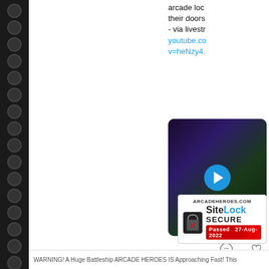[Figure (screenshot): Black perforated strip along the left edge of the page, resembling binding holes]
arcade loc their doors - via livestr youtube.co v=heNzy4.
youtube.co v=heNzy4.
[Figure (screenshot): Video thumbnail showing a neon-lit arcade scene with a play button overlay in Twitter/YouTube embed style]
[Figure (infographic): Comment and heart/like icons from a Twitter post]
[Figure (screenshot): Blue 'View m' button (View more) on Twitter widget]
Learn mo Twitter
[Figure (logo): SiteLock SECURE badge showing ARCADEHEROES.COM, lock icon with checkmark, SiteLock SECURE text, and Passed 27-Aug-2022 banner]
WARNING! A Huge Battleship ARCADE HEROES IS Approaching Fast! This